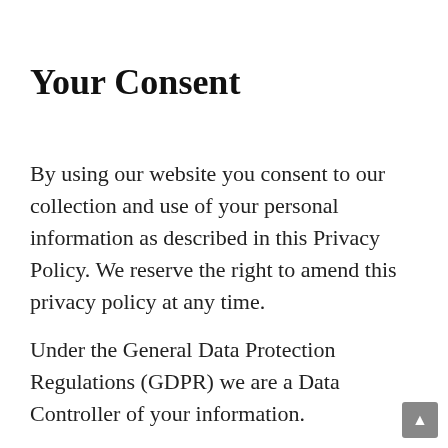Your Consent
By using our website you consent to our collection and use of your personal information as described in this Privacy Policy. We reserve the right to amend this privacy policy at any time.
Under the General Data Protection Regulations (GDPR) we are a Data Controller of your information.